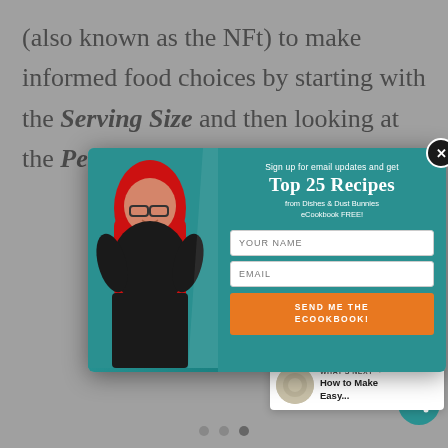(also known as the NFt) to make informed food choices by starting with the Serving Size and then looking at the Percent Daily Value od packa
[Figure (screenshot): Email signup popup modal with a woman with red hair on the left side and a teal signup form on the right. Form says 'Sign up for email updates and get Top 25 Recipes from Dishes & Dust Bunnies eCookbook FREE!' with YOUR NAME and EMAIL fields and a SEND ME THE ECOOKBOOK! button in orange.]
[Figure (infographic): Social share sidebar with heart icon button, count 329, and share icon button]
[Figure (infographic): What's Next widget showing a circular thumbnail and text 'WHAT'S NEXT → How to Make Easy...']